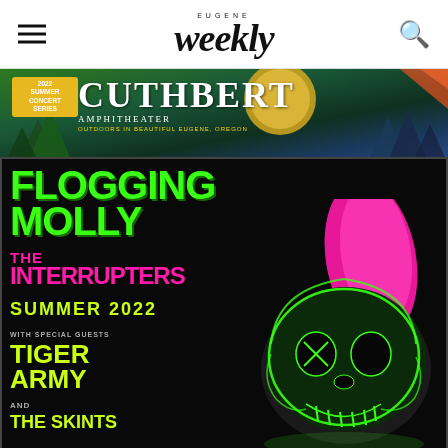EUGENE Weekly
[Figure (illustration): Cuthbert Amphitheater 2022 Summer Concert Series banner with forest and mountain background]
[Figure (illustration): Concert poster for Flogging Molly and The Interrupters Summer 2022 with special guests Tiger Army and The Skints. Features a neon green punk skull with pink mohawk on black background.]